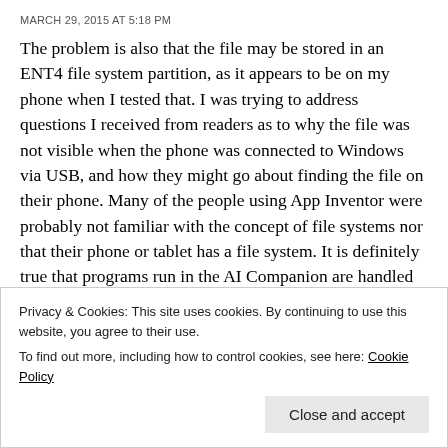MARCH 29, 2015 AT 5:18 PM
The problem is also that the file may be stored in an ENT4 file system partition, as it appears to be on my phone when I tested that. I was trying to address questions I received from readers as to why the file was not visible when the phone was connected to Windows via USB, and how they might go about finding the file on their phone. Many of the people using App Inventor were probably not familiar with the concept of file systems nor that their phone or tablet has a file system. It is definitely true that programs run in the AI Companion are handled quite a bit differently than apps that are built and installed separately and I think it is a
Privacy & Cookies: This site uses cookies. By continuing to use this website, you agree to their use.
To find out more, including how to control cookies, see here: Cookie Policy
Close and accept